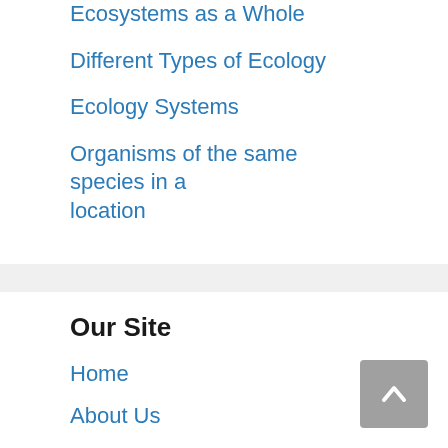Ecosystems as a Whole
Different Types of Ecology
Ecology Systems
Organisms of the same species in a location
Our Site
Home
About Us
Contact
Phone: 772-324-9532
Email: info@jotscroll.com